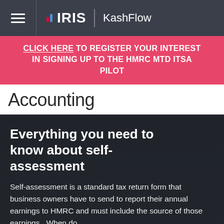IRIS KashFlow
CLICK HERE TO REGISTER YOUR INTEREST IN SIGNING UP TO THE HMRC MTD ITSA PILOT
Accounting
Everything you need to know about self-assessment
Self-assessment is a standard tax return form that business owners have to send to report their annual earnings to HMRC and must include the source of those earnings.  When do